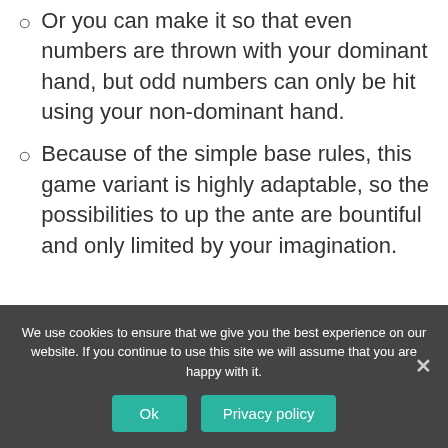Or you can make it so that even numbers are thrown with your dominant hand, but odd numbers can only be hit using your non-dominant hand.
Because of the simple base rules, this game variant is highly adaptable, so the possibilities to up the ante are bountiful and only limited by your imagination.
[Figure (other): Gray placeholder box for an image or advertisement]
We use cookies to ensure that we give you the best experience on our website. If you continue to use this site we will assume that you are happy with it.
Ok  Privacy policy